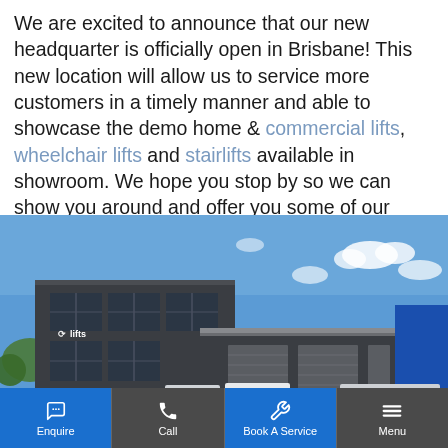We are excited to announce that our new headquarter is officially open in Brisbane! This new location will allow us to service more customers in a timely manner and able to showcase the demo home & commercial lifts, wheelchair lifts and stairlifts available in showroom. We hope you stop by so we can show you around and offer you some of our best services.
[Figure (photo): Exterior photograph of the company's new Brisbane headquarters building — a dark grey multi-storey commercial/industrial building with 'Allied lifts' signage, garage doors, and blue sky with light clouds.]
Enquire | Call | Book A Service | Menu